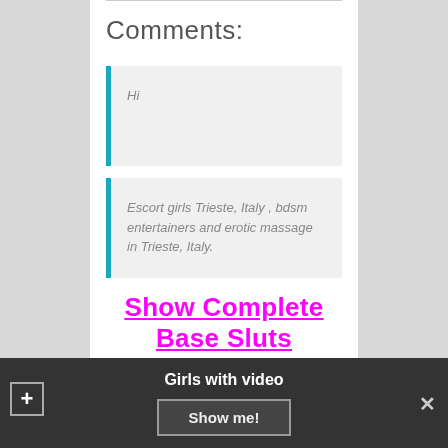Comments:
Hi
Escort girls Trieste, Italy , bdsm entertainers and erotic massage in Trieste, Italy.
Show Complete Base Sluts
By admin | 15.03.2015 | Italy | 4 Comments |
Girls with video
Show me!